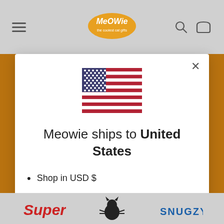Meowie - the coolest cat gifts (navigation bar with hamburger menu, logo, search and cart icons)
[Figure (screenshot): US flag emoji/icon centered in modal]
Meowie ships to United States
Shop in USD $
Get shipping options for United States
Shop now
Change shipping country
[Figure (logo): Bottom strip with Super, cat illustration, and SNUGZY brand logos]